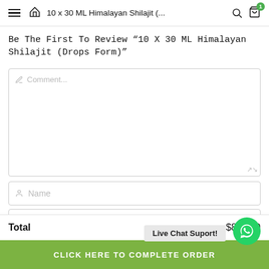10 x 30 ML Himalayan Shilajit (... [with menu, home, search, cart icons]
Be The First To Review “10 X 30 ML Himalayan Shilajit (Drops Form)”
[Figure (screenshot): Comment text area input field with pencil icon placeholder]
[Figure (screenshot): Name input field with user icon placeholder]
Live Chat Suport!
[Figure (logo): WhatsApp green circle button with white phone/chat icon]
Total	$890.00
CLICK HERE TO COMPLETE ORDER